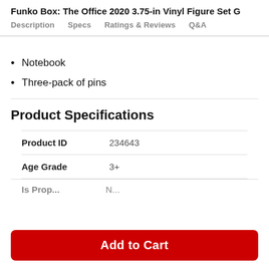Funko Box: The Office 2020 3.75-in Vinyl Figure Set G
Description    Specs    Ratings & Reviews    Q&A
(truncated/partial text)
Notebook
Three-pack of pins
Product Specifications
|  |  |
| --- | --- |
| Product ID | 234643 |
| Age Grade | 3+ |
| (partial row) | (partial) |
Add to Cart